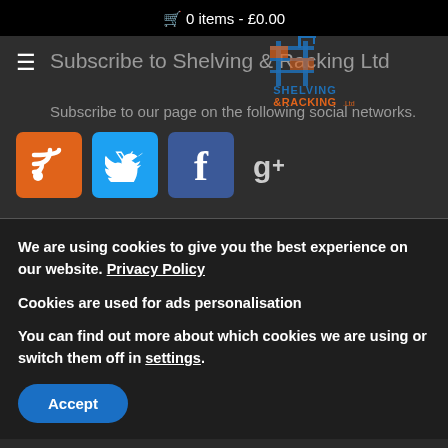🛒 0 items - £0.00
Subscribe to Shelving & Racking Ltd
[Figure (logo): Shelving & Racking Ltd logo with building/rack graphic in blue and orange]
Subscribe to our page on the following social networks.
[Figure (infographic): Four social media icons: RSS (orange), Twitter (blue), Facebook (dark blue), Google+ (grey/white)]
We are using cookies to give you the best experience on our website. Privacy Policy
Cookies are used for ads personalisation
You can find out more about which cookies we are using or switch them off in settings.
Accept